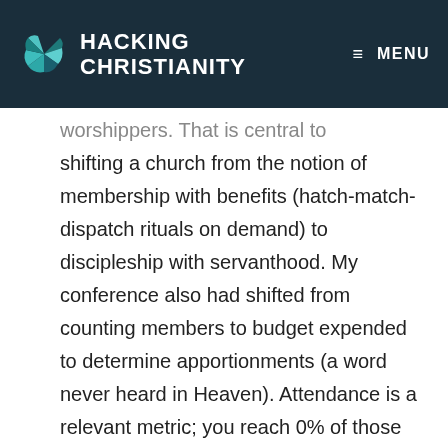HACKING CHRISTIANITY  MENU
worshippers. That is central to shifting a church from the notion of membership with benefits (hatch-match-dispatch rituals on demand) to discipleship with servanthood. My conference also had shifted from counting members to budget expended to determine apportionments (a word never heard in Heaven). Attendance is a relevant metric; you reach 0% of those who never show up. But that requires honest counting, and I followed a